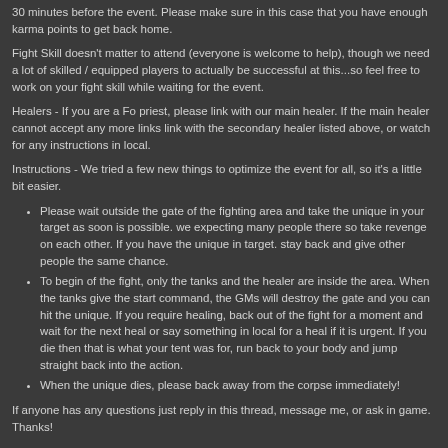30 minutes before the event. Please make sure in this case that you have enough karma points to get back home.
Fight Skill doesn't matter to attend (everyone is welcome to help), though we need a lot of skilled / equipped players to actually be successful at this...so feel free to work on your fight skill while waiting for the event.
Healers - If you are a Fo priest, please link with our main healer. If the main healer cannot accept any more links link with the secondary healer listed above, or watch for any instructions in local.
Instructions - We tried a few new things to optimize the event for all, so it's a little bit easier.
Please wait outside the gate of the fighting area and take the unique in your target as soon is possible. we expecting many people there so take revenge on each other. If you have the unique in target. stay back and give other people the same chance.
To begin of the fight, only the tanks and the healer are inside the area. When the tanks give the start command, the GMs will destroy the gate and you can hit the unique. If you require healing, back out of the fight for a moment and wait for the next heal or say something in local for a heal if it is urgent. If you die then that is what your tent was for, run back to your body and jump straight back into the action.
When the unique dies, please back away from the corpse immediately!
If anyone has any questions just reply in this thread, message me, or ask in game. Thanks!